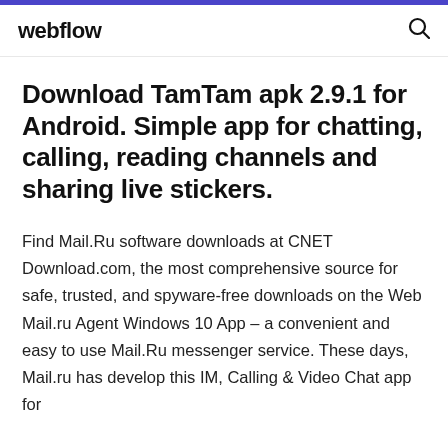webflow
Download TamTam apk 2.9.1 for Android. Simple app for chatting, calling, reading channels and sharing live stickers.
Find Mail.Ru software downloads at CNET Download.com, the most comprehensive source for safe, trusted, and spyware-free downloads on the Web Mail.ru Agent Windows 10 App – a convenient and easy to use Mail.Ru messenger service. These days, Mail.ru has develop this IM, Calling & Video Chat app for